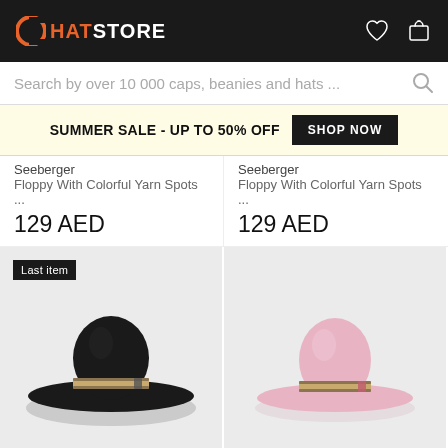HATSTORE — navigation bar with logo, wishlist and cart icons
Search by over 10 000 caps, beanies and hats ...
SUMMER SALE - UP TO 50% OFF  SHOP NOW
Seeberger
Floppy With Colorful Yarn Spots ...
129 AED
Seeberger
Floppy With Colorful Yarn Spots ...
129 AED
[Figure (photo): Black wide-brim floppy hat with striped ribbon band, 'Last item' badge in top-left corner, on light grey background]
[Figure (photo): Pink wide-brim floppy hat with striped ribbon band, on light grey background]